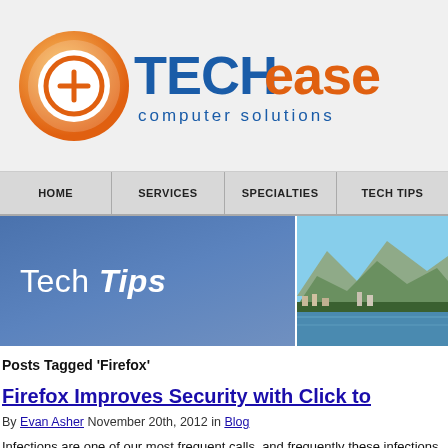[Figure (logo): TECHease computer solutions logo with orange circle icon and blue/orange text]
HOME | SERVICES | SPECIALTIES | TECH TIPS
[Figure (photo): Tech Tips banner with blue gradient on left and coastal landscape photo on right]
Posts Tagged ‘Firefox’
Firefox Improves Security with Click to
By Evan Asher November 20th, 2012 in Blog
Infections are one of our most frequent calls, and frequently these infections are downloaded through vulnerable plugins. Firefox has now released u...